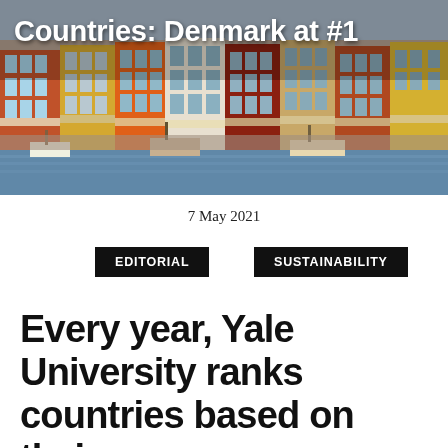[Figure (photo): Colorful harbor buildings along a waterfront with boats, likely Nyhavn in Copenhagen, Denmark]
Countries: Denmark at #1
7 May 2021
EDITORIAL
SUSTAINABILITY
Every year, Yale University ranks countries based on their